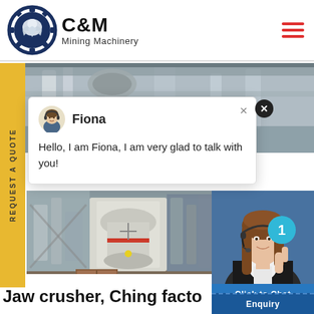[Figure (logo): C&M Mining Machinery logo with eagle/gear icon and text]
[Figure (photo): Industrial machinery and factory background hero image]
[Figure (photo): Chat popup with avatar of Fiona agent, name Fiona, and greeting message]
Hello, I am Fiona, I am very glad to talk with you!
[Figure (photo): Mining machinery (cone crusher) in industrial facility]
[Figure (photo): Female customer service agent with headset, Click to Chat button, notification badge showing 1]
Jaw crusher, Ching facto